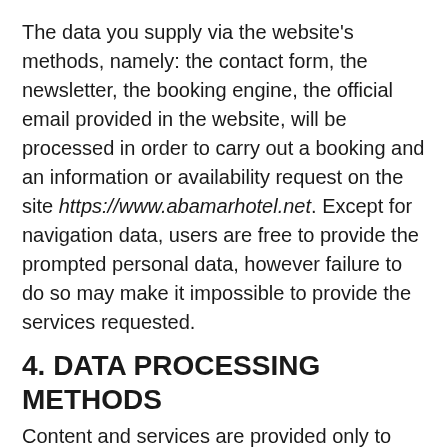The data you supply via the website's methods, namely: the contact form, the newsletter, the booking engine, the official email provided in the website, will be processed in order to carry out a booking and an information or availability request on the site https://www.abamarhotel.net. Except for navigation data, users are free to provide the prompted personal data, however failure to do so may make it impossible to provide the services requested.
4. DATA PROCESSING METHODS
Content and services are provided only to those who allow the processing of personal data. Data processing is done through the use of automated tools, including third parties, manually and according to methods that ensure the outmost safety and confidentiality. The rights to use the data collected are not transferred to third parties nor are their disclosed or transferred abroad. Data may be processed by third parties only...